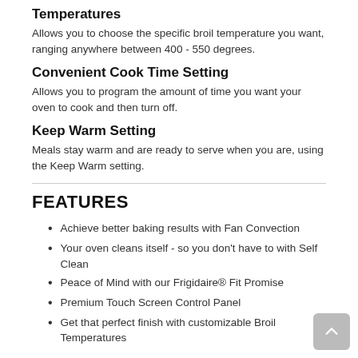Temperatures
Allows you to choose the specific broil temperature you want, ranging anywhere between 400 - 550 degrees.
Convenient Cook Time Setting
Allows you to program the amount of time you want your oven to cook and then turn off.
Keep Warm Setting
Meals stay warm and are ready to serve when you are, using the Keep Warm setting.
FEATURES
Achieve better baking results with Fan Convection
Your oven cleans itself - so you don't have to with Self Clean
Peace of Mind with our Frigidaire® Fit Promise
Premium Touch Screen Control Panel
Get that perfect finish with customizable Broil Temperatures